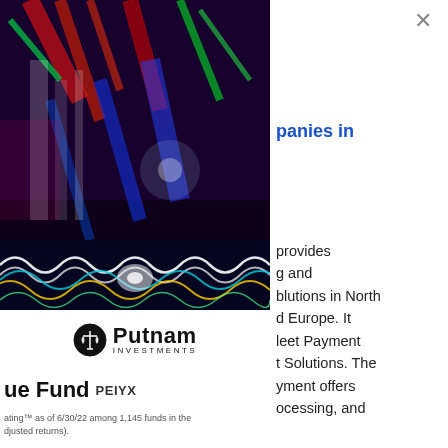[Figure (photo): Abstract colorful light trails photo with glowing neon wave patterns — predominantly blue, red, green, purple, yellow — dark background]
[Figure (logo): Putnam Investments logo: circular scale/balance icon with 'Putnam' in bold and 'INVESTMENTS' in small caps beneath]
ue Fund PEIYX
panies in
provides g and blutions in North d Europe. It leet Payment t Solutions. The yment offers ocessing, and
ating™ as of 6/30/22 among 1,145 funds in the djusted returns).